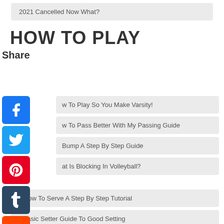2021 Cancelled Now What?
HOW TO PLAY
Share
[Figure (infographic): Social media share icons: Facebook, Twitter, Pinterest, Tumblr, Reddit, WhatsApp]
w To Play So You Make Varsity!
w To Pass Better With My Passing Guide
Bump A Step By Step Guide
at Is Blocking In Volleyball?
◄How To Serve A Step By Step Tutorial
A Basic Setter Guide To Good Setting